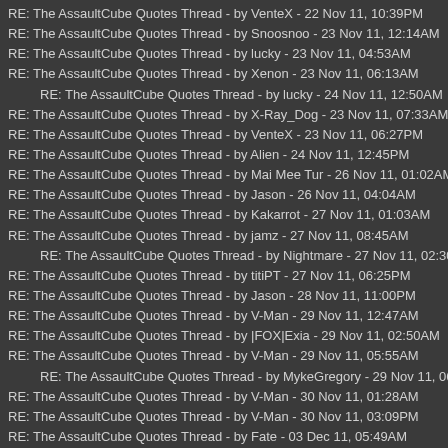RE: The AssaultCube Quotes Thread - by VenteX - 22 Nov 11, 10:39PM
RE: The AssaultCube Quotes Thread - by Snoosnoo - 23 Nov 11, 12:14AM
RE: The AssaultCube Quotes Thread - by lucky - 23 Nov 11, 04:53AM
RE: The AssaultCube Quotes Thread - by Xenon - 23 Nov 11, 06:13AM
RE: The AssaultCube Quotes Thread - by lucky - 24 Nov 11, 12:50AM
RE: The AssaultCube Quotes Thread - by X-Ray_Dog - 23 Nov 11, 07:33AM
RE: The AssaultCube Quotes Thread - by VenteX - 23 Nov 11, 06:27PM
RE: The AssaultCube Quotes Thread - by Alien - 24 Nov 11, 12:45PM
RE: The AssaultCube Quotes Thread - by Mai Mee Tur - 26 Nov 11, 01:02AM
RE: The AssaultCube Quotes Thread - by Jason - 26 Nov 11, 04:04AM
RE: The AssaultCube Quotes Thread - by Kakarrot - 27 Nov 11, 01:03AM
RE: The AssaultCube Quotes Thread - by jamz - 27 Nov 11, 08:45AM
RE: The AssaultCube Quotes Thread - by Nightmare - 27 Nov 11, 02:30PM
RE: The AssaultCube Quotes Thread - by titiPT - 27 Nov 11, 06:25PM
RE: The AssaultCube Quotes Thread - by Jason - 28 Nov 11, 11:00PM
RE: The AssaultCube Quotes Thread - by V-Man - 29 Nov 11, 12:47AM
RE: The AssaultCube Quotes Thread - by |FOX|Exia - 29 Nov 11, 02:50AM
RE: The AssaultCube Quotes Thread - by V-Man - 29 Nov 11, 05:55AM
RE: The AssaultCube Quotes Thread - by MykeGregory - 29 Nov 11, 06:11P
RE: The AssaultCube Quotes Thread - by V-Man - 30 Nov 11, 01:28AM
RE: The AssaultCube Quotes Thread - by V-Man - 30 Nov 11, 03:09PM
RE: The AssaultCube Quotes Thread - by Fate - 03 Dec 11, 05:49AM
RE: The AssaultCube Quotes Thread - by titiPT - 03 Dec 11, 05:30PM
RE: The AssaultCube Quotes Thread - by Think3r - 04 Dec 11, 02:09AM
RE: The AssaultCube Quotes Thread - by Nightmare - 04 Dec 11, 10:34PM